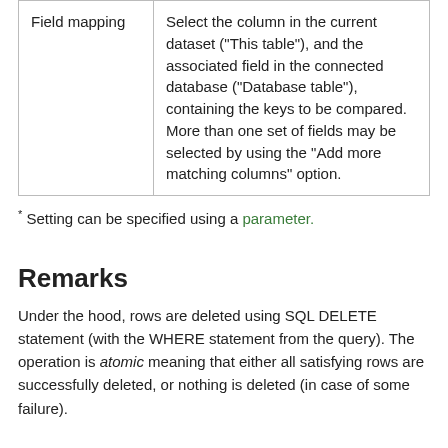| Field mapping | Select the column in the current dataset ("This table"), and the associated field in the connected database ("Database table"), containing the keys to be compared. More than one set of fields may be selected by using the "Add more matching columns" option. |
* Setting can be specified using a parameter.
Remarks
Under the hood, rows are deleted using SQL DELETE statement (with the WHERE statement from the query). The operation is atomic meaning that either all satisfying rows are successfully deleted, or nothing is deleted (in case of some failure).